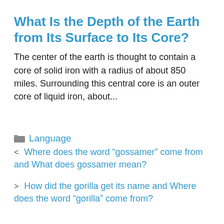What Is the Depth of the Earth from Its Surface to Its Core?
The center of the earth is thought to contain a core of solid iron with a radius of about 850 miles. Surrounding this central core is an outer core of liquid iron, about...
Language
< Where does the word “gossamer” come from and What does gossamer mean?
> How did the gorilla get its name and Where does the word “gorilla” come from?